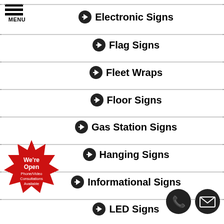[Figure (illustration): Hamburger menu icon with three horizontal bars and MENU text below]
➔ Electronic Signs
➔ Flag Signs
➔ Fleet Wraps
➔ Floor Signs
➔ Gas Station Signs
➔ Hanging Signs
➔ Informational Signs
➔ LED Signs
[Figure (illustration): Red starburst badge with text: We're Open Phone/Video Consultations Available]
[Figure (illustration): Two circular icons: phone and email/envelope, black background]